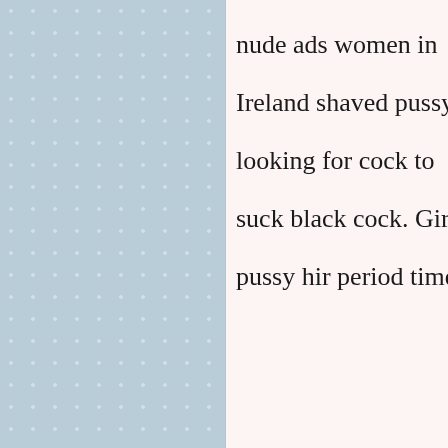nude ads women in Ireland shaved pussy looking for cock to suck black cock. Girl pussy hir period time.